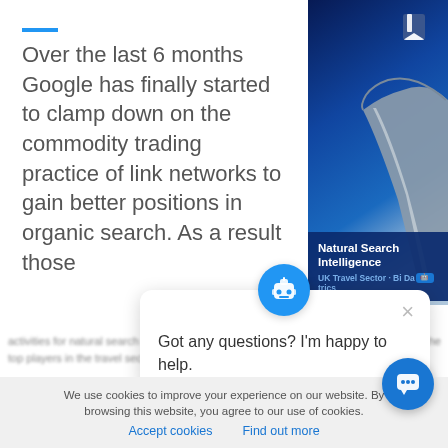Over the last 6 months Google has finally started to clamp down on the commodity trading practice of link networks to gain better positions in organic search. As a result those activities for natural search are dropping out of the disavow action are keeping the top players in the travel sector regularly reporting from their 1.2 million
[Figure (photo): Airplane wing tip against a deep blue sky, with 'Natural Search Intelligence' title and 'UK Travel Sector · Bi Da... · trics' subtitle overlaid at the bottom, and a white logo icon in the top right corner]
[Figure (screenshot): Chatbot popup with robot icon, close button, and message 'Got any questions? I'm happy to help.']
We use cookies to improve your experience on our website. By browsing this website, you agree to our use of cookies.
Accept cookies    Find out more